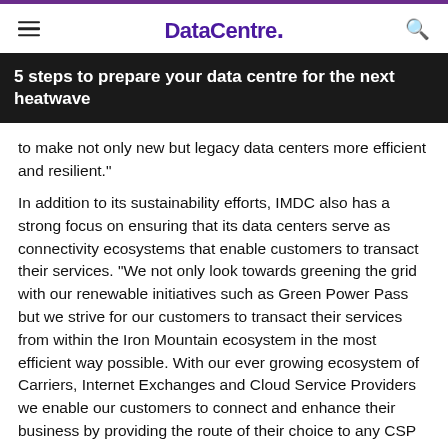DataCentre.
5 steps to prepare your data centre for the next heatwave
to make not only new but legacy data centers more efficient and resilient."
In addition to its sustainability efforts, IMDC also has a strong focus on ensuring that its data centers serve as connectivity ecosystems that enable customers to transact their services. “We not only look towards greening the grid with our renewable initiatives such as Green Power Pass but we strive for our customers to transact their services from within the Iron Mountain ecosystem in the most efficient way possible. With our ever growing ecosystem of Carriers, Internet Exchanges and Cloud Service Providers we enable our customers to connect and enhance their business by providing the route of their choice to any CSP on a global scale. So really it’s about providing top quality